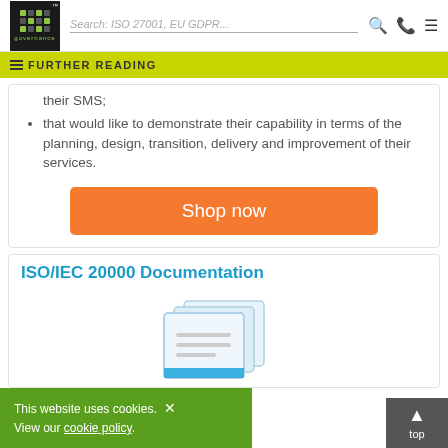IT Governance – Search: ISO 27001, EU GDPR...
FURTHER READING
their SMS;
that would like to demonstrate their capability in terms of the planning, design, transition, delivery and improvement of their services.
Shop now
ISO/IEC 20000 Documentation
This website uses cookies. View our cookie policy
[Figure (illustration): Document/book stack icon illustration]